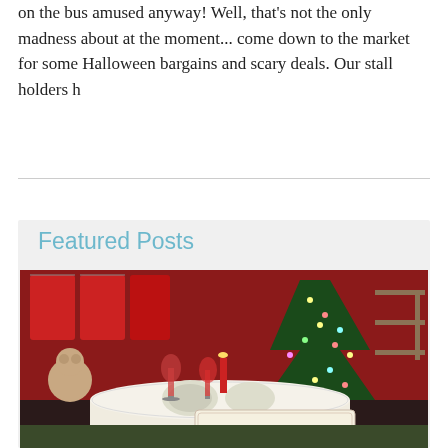on the bus amused anyway! Well, that's not the only madness about at the moment... come down to the market for some Halloween bargains and scary deals. Our stall holders h
Featured Posts
[Figure (photo): Interior of a Christmas market stall or shop decorated with red clothing, a Christmas tree with lights, a table set with white lace tablecloth, plates, glasses with red wine, candles, and a prominent 'Come in We're Open' sign in the foreground.]